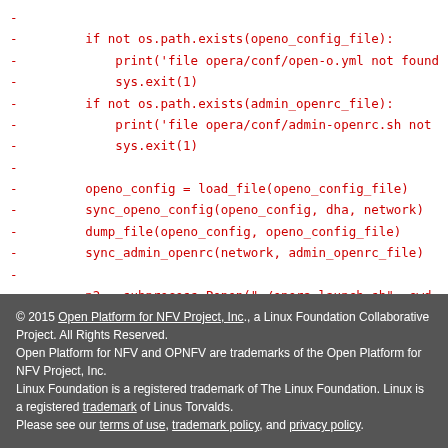- 
-         if not os.path.exists(openo_config_file):
-             print('file opera/conf/open-o.yml not found
-             sys.exit(1)
-         if not os.path.exists(admin_openrc_file):
-             print('file opera/conf/admin-openrc.sh not
-             sys.exit(1)
- 
-         openo_config = load_file(openo_config_file)
-         sync_openo_config(openo_config, dha, network)
-         dump_file(openo_config, openo_config_file)
-         sync_admin_openrc(network, admin_openrc_file)
- 
-         p2 = subprocess.Popen("./opera_launch.sh", cwd=
-         p2.communicate()
-         if p2.returncode != 0:
-             print('./opera_launch.sh fail')
-             sys.exit(1)
© 2015 Open Platform for NFV Project, Inc., a Linux Foundation Collaborative Project. All Rights Reserved.
Open Platform for NFV and OPNFV are trademarks of the Open Platform for NFV Project, Inc.
Linux Foundation is a registered trademark of The Linux Foundation. Linux is a registered trademark of Linus Torvalds.
Please see our terms of use, trademark policy, and privacy policy.